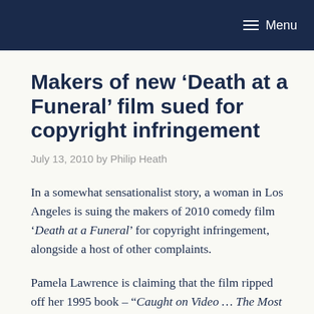Menu
Makers of new ‘Death at a Funeral’ film sued for copyright infringement
July 13, 2010 by Philip Heath
In a somewhat sensationalist story, a woman in Los Angeles is suing the makers of 2010 comedy film ‘Death at a Funeral’ for copyright infringement, alongside a host of other complaints.
Pamela Lawrence is claiming that the film ripped off her 1995 book – “Caught on Video … The Most